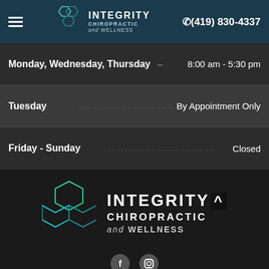INTEGRITY CHIROPRACTIC and WELLNESS — (419) 830-4337
| Day | Hours |
| --- | --- |
| Monday, Wednesday, Thursday | 8:00 am - 5:30 pm |
| Tuesday | By Appointment Only |
| Friday - Sunday | Closed |
[Figure (logo): Integrity Chiropractic and Wellness logo with hexagon icon and upward arrow mark]
[Figure (other): Social media icons row at bottom]